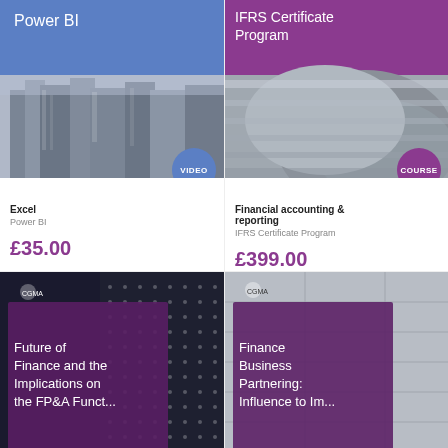[Figure (illustration): Power BI course card with blue header and building photo, VIDEO badge]
[Figure (illustration): IFRS Certificate Program card with purple header and building photo, COURSE badge]
Excel
Power BI
£35.00
Financial accounting & reporting
IFRS Certificate Program
£399.00
[Figure (illustration): Future of Finance and the Implications on the FP&A Funct... card with dark tech pattern and purple overlay, VIDEO badge]
[Figure (illustration): Finance Business Partnering: Influence to Im... card with building exterior and purple overlay, COURSE badge]